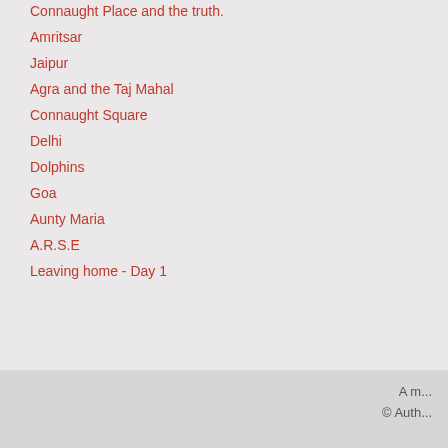Connaught Place and the truth.
Amritsar
Jaipur
Agra and the Taj Mahal
Connaught Square
Delhi
Dolphins
Goa
Aunty Maria
A.R.S.E
Leaving home - Day 1
A m...
© Auth...